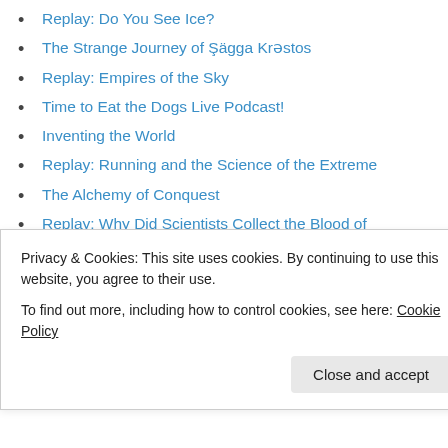Replay: Do You See Ice?
The Strange Journey of Şägga Krəstos
Replay: Empires of the Sky
Time to Eat the Dogs Live Podcast!
Inventing the World
Replay: Running and the Science of the Extreme
The Alchemy of Conquest
Replay: Why Did Scientists Collect the Blood of Indigenous Peoples?
Icebound
Replay: A History of Modern Tourism
Replay: Sea Wife
The Argument Against Human Colonies in Space
Enemy of All Mankind
Privacy & Cookies: This site uses cookies. By continuing to use this website, you agree to their use.
To find out more, including how to control cookies, see here: Cookie Policy